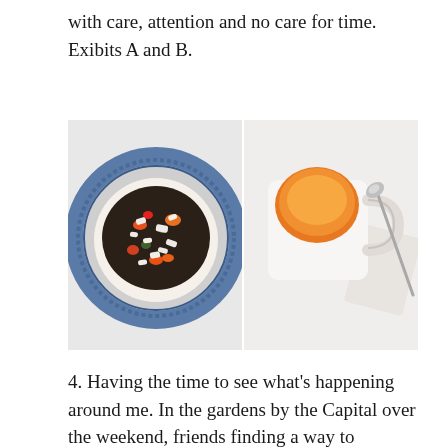with care, attention and no care for time. Exibits A and B.
[Figure (photo): Two food photos side by side. Left: a decorative blue-and-white patterned bowl containing a salad with black beans, colorful vegetables, and crumbled white cheese. Right: a white mug with a red detail containing an orange soup or smoothie, accompanied by a silver spoon resting on a white napkin.]
4. Having the time to see what's happening around me. In the gardens by the Capital over the weekend, friends finding a way to connect, a woman on the phone among the tulips, the Capitol casting its white glow on everything